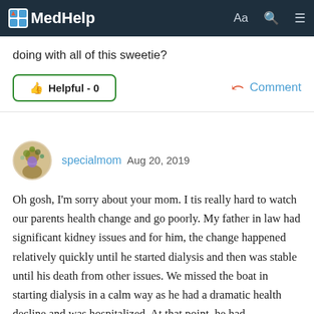MedHelp
doing with all of this sweetie?
Helpful - 0    Comment
specialmom Aug 20, 2019
Oh gosh, I'm sorry about your mom.  I tis really hard to watch our parents health change and go poorly.  My father in law had significant kidney issues and for him, the change happened relatively quickly until he started dialysis and then was stable until his death from other issues. We missed the boat in starting dialysis in a calm way as he had a dramatic health decline and was hospitalized.  At that point, he had